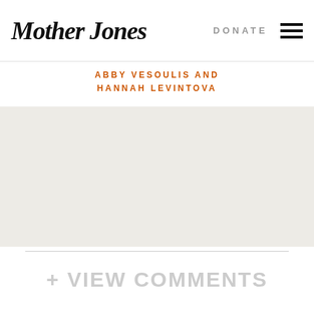Mother Jones | DONATE ☰
ABBY VESOULIS AND HANNAH LEVINTOVA
[Figure (photo): Large light beige/off-white content image area]
+ VIEW COMMENTS